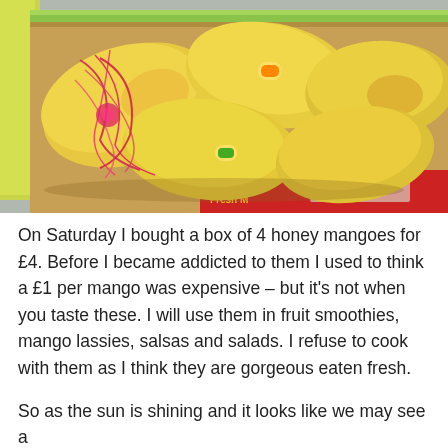[Figure (photo): A cardboard box with a green rim containing several large yellow honey mangoes. Some mangoes have colorful red/pink ribbon decorations tied around them. Mango stickers are visible on some fruit. The front of the box shows a red label reading 'Al-Ras Fresh M...' (partially obscured). The box sits on a surface with other items visible in the background.]
On Saturday I bought a box of 4 honey mangoes for £4. Before I became addicted to them I used to think a £1 per mango was expensive – but it's not when you taste these. I will use them in fruit smoothies, mango lassies, salsas and salads. I refuse to cook with them as I think they are gorgeous eaten fresh.
So as the sun is shining and it looks like we may see a